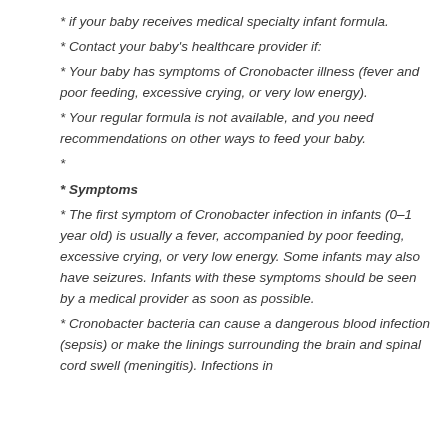* if your baby receives medical specialty infant formula.
* Contact your baby's healthcare provider if:
* Your baby has symptoms of Cronobacter illness (fever and poor feeding, excessive crying, or very low energy).
* Your regular formula is not available, and you need recommendations on other ways to feed your baby.
*
* Symptoms
* The first symptom of Cronobacter infection in infants (0–1 year old) is usually a fever, accompanied by poor feeding, excessive crying, or very low energy. Some infants may also have seizures. Infants with these symptoms should be seen by a medical provider as soon as possible.
* Cronobacter bacteria can cause a dangerous blood infection (sepsis) or make the linings surrounding the brain and spinal cord swell (meningitis). Infections in